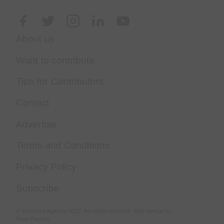[Figure (other): Row of social media icons: Facebook, Twitter, Instagram, LinkedIn, YouTube]
About us
Want to contribute
Tips for Contributors
Contact
Advertise
Terms and Conditions
Privacy Policy
Subscribe
© Women's Agenda 2022. All rights reserved. Web Design by Pixel Pasture